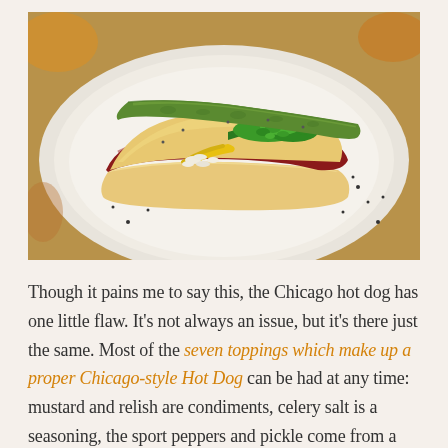[Figure (photo): A Chicago-style hot dog served on a white plate, showing a red frankfurter in a bun topped with bright green relish, white onions, a pickle spear, yellow mustard, and a sport pepper. The bun and plate have visible poppy seeds scattered on them.]
Though it pains me to say this, the Chicago hot dog has one little flaw. It's not always an issue, but it's there just the same. Most of the seven toppings which make up a proper Chicago-style Hot Dog can be had at any time: mustard and relish are condiments, celery salt is a seasoning, the sport peppers and pickle come from a jar, and onions can be freshly cut up at any time of the year.